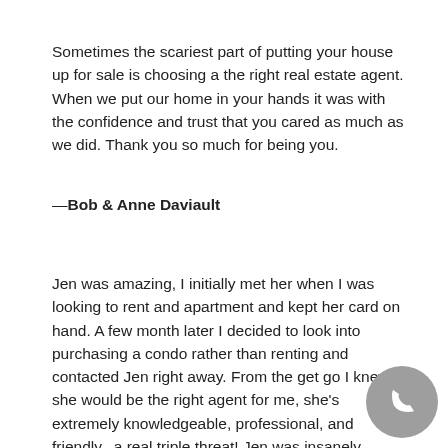Sometimes the scariest part of putting your house up for sale is choosing a the right real estate agent. When we put our home in your hands it was with the confidence and trust that you cared as much as we did. Thank you so much for being you.
—Bob & Anne Daviault
Jen was amazing, I initially met her when I was looking to rent and apartment and kept her card on hand. A few month later I decided to look into purchasing a condo rather than renting and contacted Jen right away. From the get go I knew she would be the right agent for me, she's extremely knowledgeable, professional, and friendly...a real triple threat! Jen was insanely patient while we looked at every single available condo around town that was in my price range, going back 4-5 times to the unit that I ended up buying. It really is the perfect condo fo and were it not for Jen's excellent negotiation skills, I mig have been able to afford it! If I ever decide to sell my cond